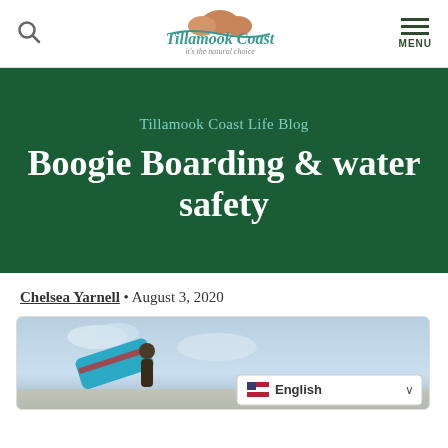Tillamook Coast – it's the natural choice
[Figure (screenshot): Tillamook Coast website header with search icon, logo, and menu icon]
Tillamook Coast Life Blog
Boogie Boarding & water safety
Chelsea Yarnell • August 3, 2020
[Figure (photo): Person holding a boogie board on a beach with cloudy sky, with English language selector overlay]